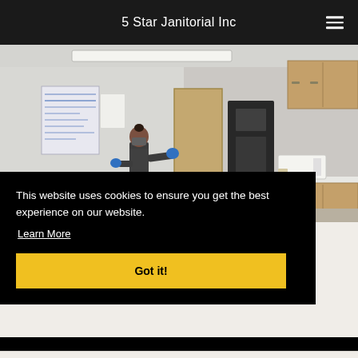5 Star Janitorial Inc
[Figure (photo): A janitorial worker wearing a mask and blue gloves cleaning a commercial kitchen/break room area with office equipment, microwave, cabinets, and papers posted on the wall.]
This website uses cookies to ensure you get the best experience on our website.
Learn More
Got it!